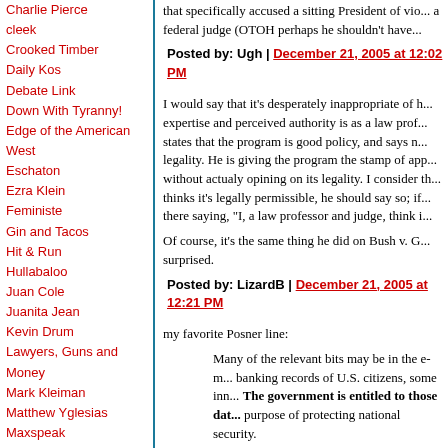Charlie Pierce
cleek
Crooked Timber
Daily Kos
Debate Link
Down With Tyranny!
Edge of the American West
Eschaton
Ezra Klein
Feministe
Gin and Tacos
Hit & Run
Hullabaloo
Juan Cole
Juanita Jean
Kevin Drum
Lawyers, Guns and Money
Mark Kleiman
Matthew Yglesias
Maxspeak
Mercury Rising
Michael Cain's Random
that specifically accused a sitting President of vio... a federal judge (OTOH perhaps he shouldn't have...
Posted by: Ugh | December 21, 2005 at 12:02 PM
I would say that it's desperately inappropriate of h... expertise and perceived authority is as a law prof... states that the program is good policy, and says n... legality. He is giving the program the stamp of app... without actualy opining on its legality. I consider th... thinks it's legally permissible, he should say so; if... there saying, "I, a law professor and judge, think i...
Of course, it's the same thing he did on Bush v. G... surprised.
Posted by: LizardB | December 21, 2005 at 12:21 PM
my favorite Posner line:
Many of the relevant bits may be in the e-m... banking records of U.S. citizens, some inn... The government is entitled to those dat... purpose of protecting national security.